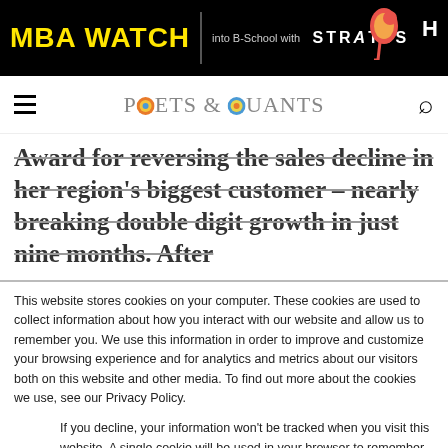MBA WATCH | into B-School with STRATUS
[Figure (logo): Poets & Quants logo with hamburger menu and search icon]
Award for reversing the sales decline in her region's biggest customer – nearly breaking double digit growth in just nine months. After
This website stores cookies on your computer. These cookies are used to collect information about how you interact with our website and allow us to remember you. We use this information in order to improve and customize your browsing experience and for analytics and metrics about our visitors both on this website and other media. To find out more about the cookies we use, see our Privacy Policy.
If you decline, your information won't be tracked when you visit this website. A single cookie will be used in your browser to remember your preference not to be tracked.